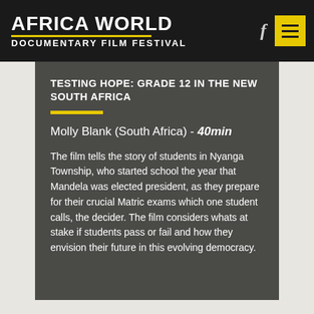AFRICA WORLD DOCUMENTARY FILM FESTIVAL
TESTING HOPE: GRADE 12 IN THE NEW SOUTH AFRICA
Molly Blank (South Africa) - 40min
The film tells the story of students in Nyanga Township, who started school the year that Mandela was elected president, as they prepare for their crucial Matric exams which one student calls, the decider. The film considers whats at stake if students pass or fail and how they envision their future in this evolving democracy.